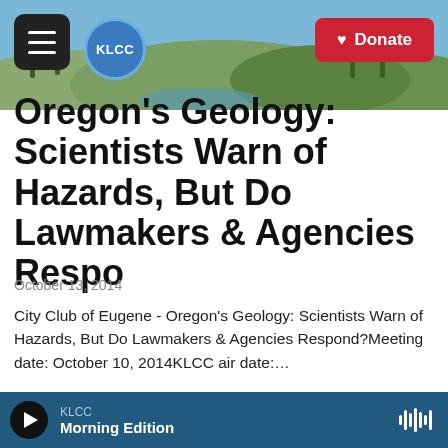[Figure (photo): Aerial/landscape photo of Eugene Oregon hills with KLCC radio station website header overlay. Hamburger menu button, KLCC circle logo, and Donate button visible.]
Oregon's Geology: Scientists Warn of Hazards, But Do Lawmakers & Agencies Respo
October 13, 2014
City Club of Eugene - Oregon's Geology: Scientists Warn of Hazards, But Do Lawmakers & Agencies Respond?Meeting date: October 10, 2014KLCC air date:…
LISTEN • 59:29
KLCC Morning Edition